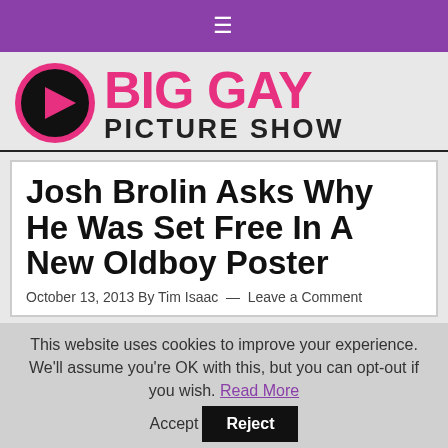≡
[Figure (logo): Big Gay Picture Show logo with pink play button in black circle and bold pink/black text]
Josh Brolin Asks Why He Was Set Free In A New Oldboy Poster
October 13, 2013 By Tim Isaac — Leave a Comment
This website uses cookies to improve your experience. We'll assume you're OK with this, but you can opt-out if you wish. Read More Accept Reject